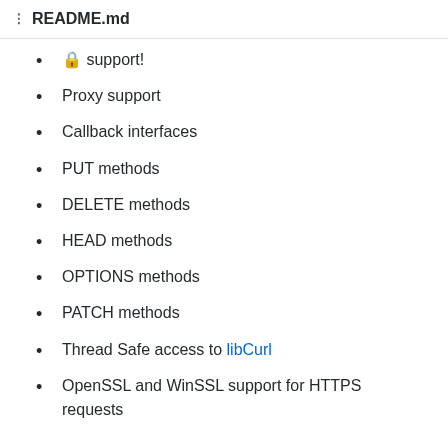README.md
🔒 support!
Proxy support
Callback interfaces
PUT methods
DELETE methods
HEAD methods
OPTIONS methods
PATCH methods
Thread Safe access to libCurl
OpenSSL and WinSSL support for HTTPS requests
Planned
For a quick overview about the planed features, have